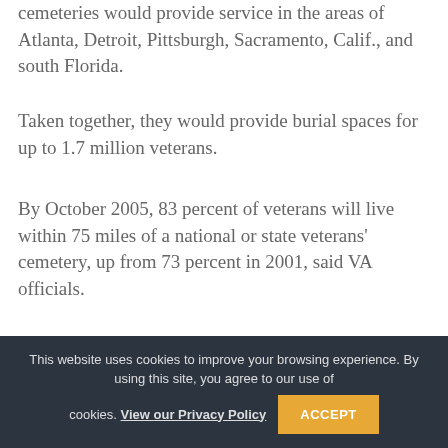cemeteries would provide service in the areas of Atlanta, Detroit, Pittsburgh, Sacramento, Calif., and south Florida.
Taken together, they would provide burial spaces for up to 1.7 million veterans.
By October 2005, 83 percent of veterans will live within 75 miles of a national or state veterans' cemetery, up from 73 percent in 2001, said VA officials.
To comply with a direction from Congress, the new VA budget would fund studies
This website uses cookies to improve your browsing experience. By using this site, you agree to our use of cookies. View our Privacy Policy  ACCEPT